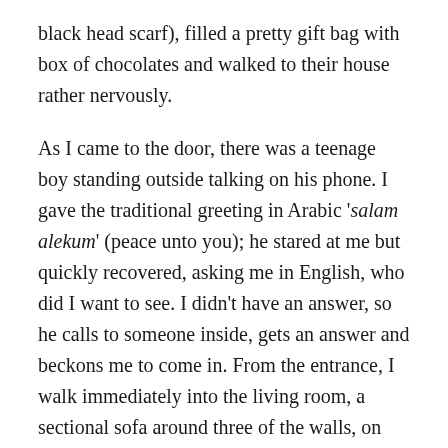black head scarf), filled a pretty gift bag with box of chocolates and walked to their house rather nervously.
As I came to the door, there was a teenage boy standing outside talking on his phone. I gave the traditional greeting in Arabic 'salam alekum' (peace unto you); he stared at me but quickly recovered, asking me in English, who did I want to see. I didn't have an answer, so he calls to someone inside, gets an answer and beckons me to come in. From the entrance, I walk immediately into the living room, a sectional sofa around three of the walls, on the left part of the sofa are about several small boys, ahead is one man, and to my right are an older woman and two women about my age.